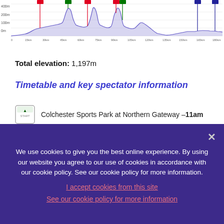[Figure (continuous-plot): Elevation profile chart showing a cycling route with markers for climbs and sprint points, purple shaded area under line, distance on x-axis, elevation on y-axis]
Total elevation: 1,197m
Timetable and key spectator information
Colchester Sports Park at Northern Gateway – 11am
A137 Parsons Heath – 11:20am
Brantham Hill (cat 3) – 12:14pm
We use cookies to give you the best online experience. By using our website you agree to our use of cookies in accordance with our cookie policy. See our cookie policy for more information.
I accept cookies from this site
See our cookie policy for more information